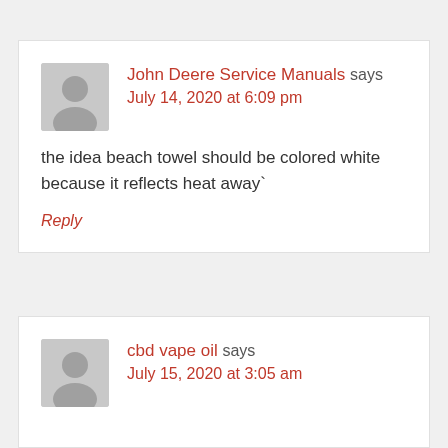John Deere Service Manuals says
July 14, 2020 at 6:09 pm
the idea beach towel should be colored white because it reflects heat away`
Reply
cbd vape oil says
July 15, 2020 at 3:05 am